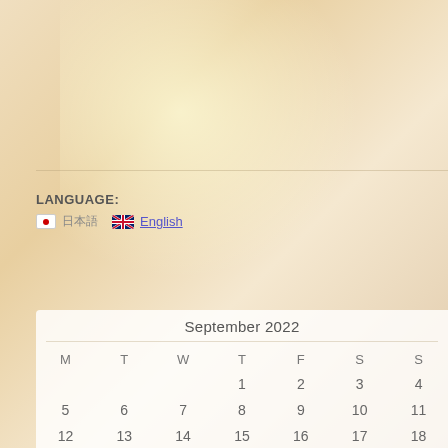LANGUAGE:
日本語  English
| M | T | W | T | F | S | S |
| --- | --- | --- | --- | --- | --- | --- |
|  |  |  | 1 | 2 | 3 | 4 |
| 5 | 6 | 7 | 8 | 9 | 10 | 11 |
| 12 | 13 | 14 | 15 | 16 | 17 | 18 |
| 19 | 20 | 21 | 22 | 23 | 24 | 25 |
| 26 | 27 | 28 | 29 | 30 |  |  |